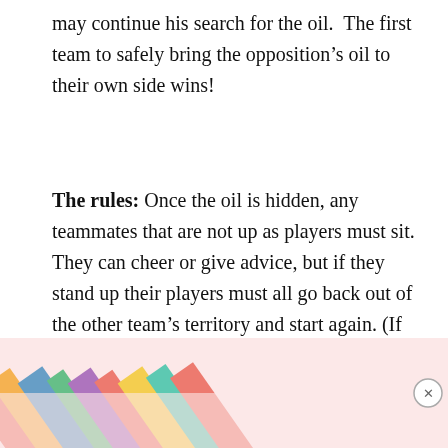may continue his search for the oil.  The first team to safely bring the opposition’s oil to their own side wins!
The rules: Once the oil is hidden, any teammates that are not up as players must sit. They can cheer or give advice, but if they stand up their players must all go back out of the other team’s territory and start again. (If you have more than 2 teams, play this game in shifts.)
CHANUKAH GAMES #3: MENORAH MEMORY
[Figure (photo): Colorful diagonal striped image, partially visible at the bottom of the page, with a close/dismiss button (X) in a circle on the right side.]